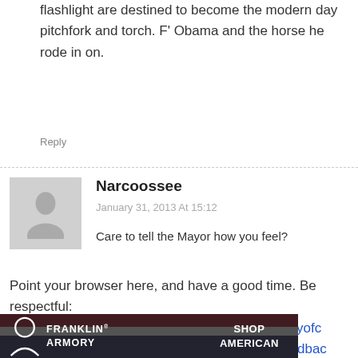flashlight are destined to become the modern day pitchfork and torch. F' Obama and the horse he rode in on.
Reply
Narcoossee
January 31, 2013 At 15:12
Care to tell the Mayor how you feel?
Point your browser here, and have a good time. Be respectful:
https://webapps.cityofchicago.org/eforms/org/cityofchicago/eforms/controller/contactUsForm/preFeedbackForm.do
Reply
[Figure (photo): Franklin Armory banner advertisement with logo and 'SHOP AMERICAN' text on dark background with American flag imagery]